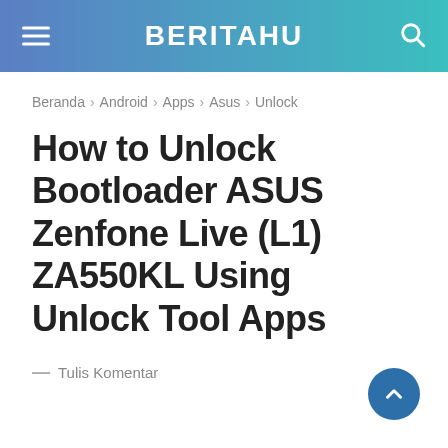BERITAHU
Beranda › Android › Apps › Asus › Unlock
How to Unlock Bootloader ASUS Zenfone Live (L1) ZA550KL Using Unlock Tool Apps
— Tulis Komentar